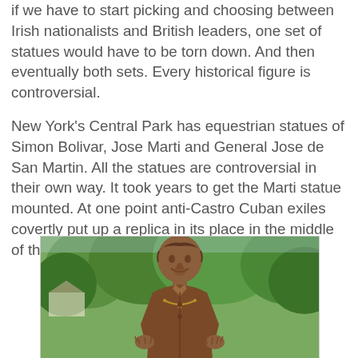if we have to start picking and choosing between Irish nationalists and British leaders, one set of statues would have to be torn down. And then eventually both sets. Every historical figure is controversial.
New York's Central Park has equestrian statues of Simon Bolivar, Jose Marti and General Jose de San Martin. All the statues are controversial in their own way. It took years to get the Marti statue mounted. At one point anti-Castro Cuban exiles covertly put up a replica in its place in the middle of the night.
[Figure (photo): Close-up photograph of a bronze statue of a person with styled hair, wearing a collared shirt with a necklace, with trees visible in the blurred background. The statue appears to be outdoors in a park setting.]